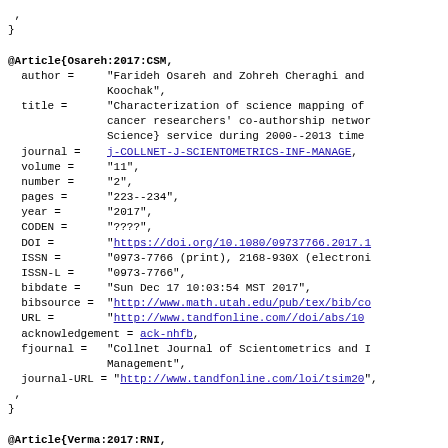onlinedate =  "20 Oct 2017",
}
@Article{Osareh:2017:CSM,
  author =     "Farideh Osareh and Zohreh Cheraghi and Koochak",
  title =      "Characterization of science mapping of cancer researchers' co-authorship networks Science} service during 2000--2013 time
  journal =    j-COLLNET-J-SCIENTOMETRICS-INF-MANAGE,
  volume =     "11",
  number =     "2",
  pages =      "223--234",
  year =       "2017",
  CODEN =      "????",
  DOI =        "https://doi.org/10.1080/09737766.2017.1
  ISSN =       "0973-7766 (print), 2168-930X (electroni
  ISSN-L =     "0973-7766",
  bibdate =    "Sun Dec 17 10:03:54 MST 2017",
  bibsource =  "http://www.math.utah.edu/pub/tex/bib/co
  URL =        "http://www.tandfonline.com//doi/abs/10
  acknowledgement = ack-nhfb,
  fjournal =   "Collnet Journal of Scientometrics and Management",
  journal-URL = "http://www.tandfonline.com/loi/tsim20",
  onlinedate = "20 Oct 2017",
}
@Article{Verma:2017:RNI,
  author =     "Manoj Kumar Verma and Krishna Brahma",